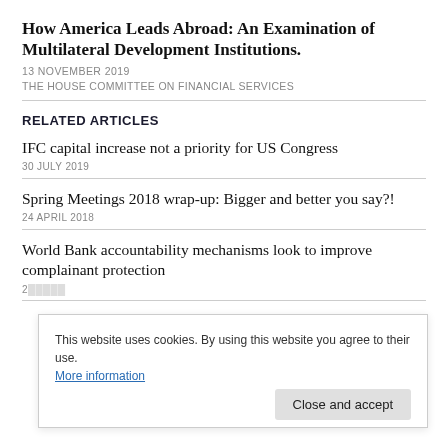How America Leads Abroad: An Examination of Multilateral Development Institutions.
13 NOVEMBER 2019
THE HOUSE COMMITTEE ON FINANCIAL SERVICES
RELATED ARTICLES
IFC capital increase not a priority for US Congress
30 JULY 2019
Spring Meetings 2018 wrap-up: Bigger and better you say?!
24 APRIL 2018
World Bank accountability mechanisms look to improve complainant protection
2[partially obscured]
This website uses cookies. By using this website you agree to their use. More information
Close and accept